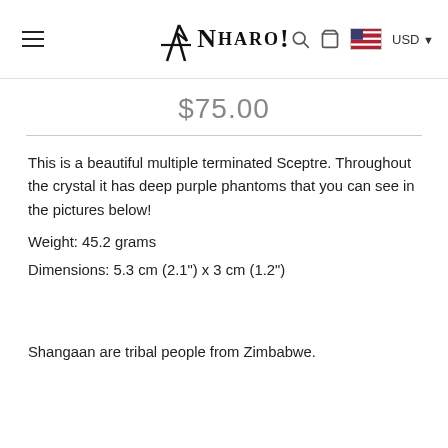NHARO! USD
$75.00
This is a beautiful multiple terminated Sceptre. Throughout the crystal it has deep purple phantoms that you can see in the pictures below!
Weight: 45.2 grams
Dimensions: 5.3 cm (2.1") x 3 cm (1.2")
Shangaan are tribal people from Zimbabwe.